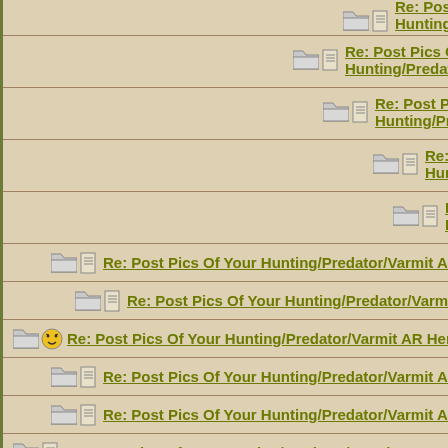Re: Post Pics Of Your Hunting/Predator/Varmit AR Here !!
Re: Post Pics Of Your Hunting/Predator/Varmit AR Here !!
Re: Post Pics Of Your Hunting/Predator/Varmit AR Here !!
Re: Post Pics Of Your Hunting/Predator/Varmit AR Here !!
Re: Post Pics Of Your Hunting/Predator/Varmit AR Here !!
Re: Post Pics Of Your Hunting/Predator/Varmit AR Here !!
Re: Post Pics Of Your Hunting/Predator/Varmit AR Here !!
Re: Post Pics Of Your Hunting/Predator/Varmit AR Here !!
Re: Post Pics Of Your Hunting/Predator/Varmit AR Here !!
Re: Post Pics Of Your Hunting/Predator/Varmit AR Here !!
Re: Post Pics Of Your Hunting/Predator/Varmit AR Here !!
Re: Post Pics Of Your Hunting/Predator/Varmit AR Here !!
Re: Post Pics Of Your Hunting/Predator/Varmit AR Here !!
Re: Post Pics Of Your Hunting/Predator/Varmit AR Here !!